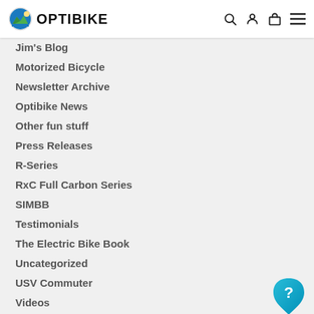OPTIBIKE
Jim's Blog
Motorized Bicycle
Newsletter Archive
Optibike News
Other fun stuff
Press Releases
R-Series
RxC Full Carbon Series
SIMBB
Testimonials
The Electric Bike Book
Uncategorized
USV Commuter
Videos